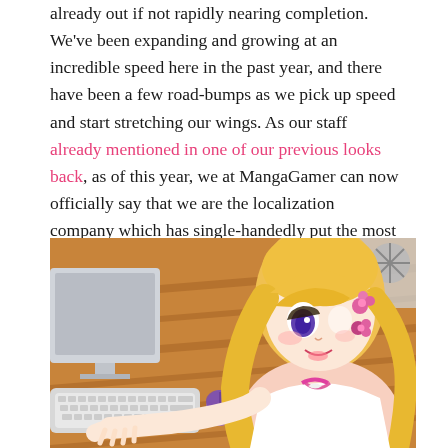already out if not rapidly nearing completion. We've been expanding and growing at an incredible speed here in the past year, and there have been a few road-bumps as we pick up speed and start stretching our wings. As our staff already mentioned in one of our previous looks back, as of this year, we at MangaGamer can now officially say that we are the localization company which has single-handedly put the most visual novels and eroge titles on the Western market for English-speaking fans of all varieties and walks of life to enjoy! So let's take a look at our top sellers for 2013!
[Figure (illustration): Anime-style illustration of a blonde girl with purple eyes and pink flower hair accessories, wearing a white and pink outfit, typing on a keyboard at a computer desk with wooden floor background]